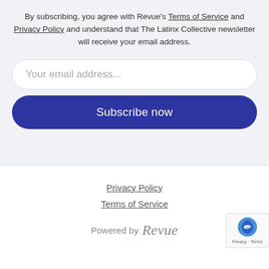By subscribing, you agree with Revue's Terms of Service and Privacy Policy and understand that The Latinx Collective newsletter will receive your email address.
[Figure (screenshot): Email address input field with placeholder text 'Your email address...']
Subscribe now
Privacy Policy
Terms of Service
Powered by Revue